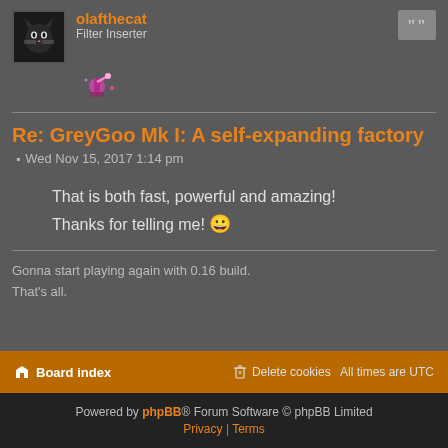olafthecat
Filter Inserter
Re: GreyGoo Mk I: A self-expanding factory
Wed Nov 15, 2017 1:14 pm
That is both fast, powerful and amazing! Thanks for telling me! 😀
Gonna start playing again with 0.16 build. That's all.
Post Reply
160 posts • 1 ... 4 5 6 7 8
Jump to
Board index   Delete cookies   All times are UTC
Powered by phpBB® Forum Software © phpBB Limited
Privacy | Terms